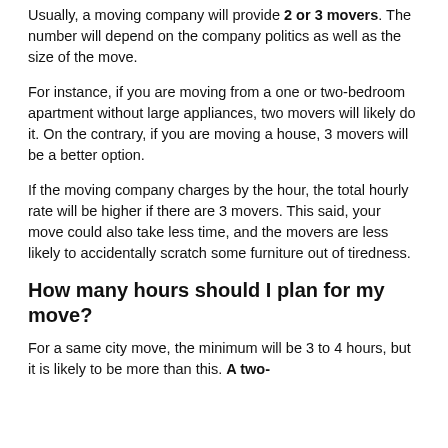Usually, a moving company will provide 2 or 3 movers. The number will depend on the company politics as well as the size of the move.
For instance, if you are moving from a one or two-bedroom apartment without large appliances, two movers will likely do it. On the contrary, if you are moving a house, 3 movers will be a better option.
If the moving company charges by the hour, the total hourly rate will be higher if there are 3 movers. This said, your move could also take less time, and the movers are less likely to accidentally scratch some furniture out of tiredness.
How many hours should I plan for my move?
For a same city move, the minimum will be 3 to 4 hours, but it is likely to be more than this. A two-